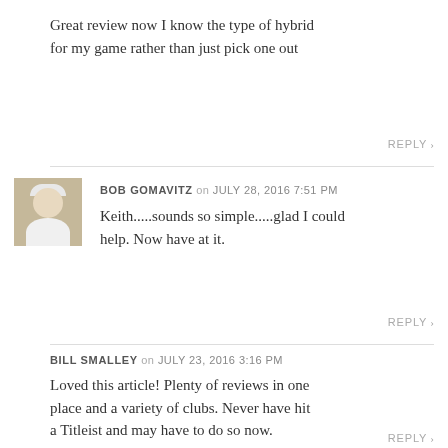Great review now I know the type of hybrid for my game rather than just pick one out
REPLY >
BOB GOMAVITZ on JULY 28, 2016 7:51 PM
Keith.....sounds so simple.....glad I could help. Now have at it.
REPLY >
BILL SMALLEY on JULY 23, 2016 3:16 PM
Loved this article! Plenty of reviews in one place and a variety of clubs. Never have hit a Titleist and may have to do so now.
REPLY >